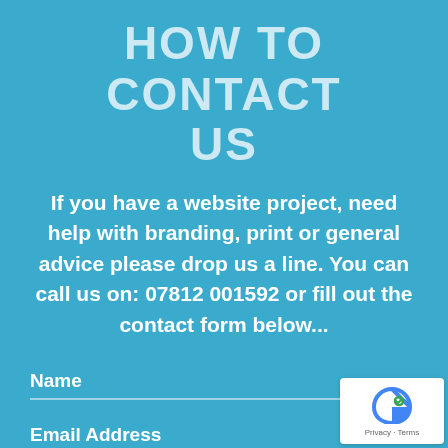HOW TO CONTACT US
If you have a website project, need help with branding, print or general advice please drop us a line. You can call us on: 07812 001592 or fill out the contact form below...
Name
Email Address